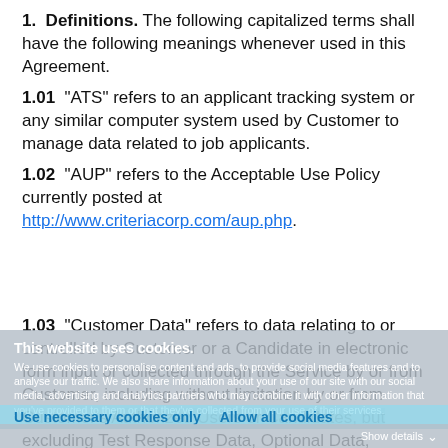1. Definitions. The following capitalized terms shall have the following meanings whenever used in this Agreement.
1.01  "ATS" refers to an applicant tracking system or any similar computer system used by Customer to manage data related to job applicants.
1.02  "AUP" refers to the Acceptable Use Policy currently posted at http://www.criteriacorp.com/aup.php.
1.03  "Customer Data" refers to data relating to or controlled by Customer or a Candidate in electronic form input or collected through the Service by or from Customer, including without limitation by or from Customer's Authorized Users or Candidates, but excluding Test Response Data, Optional Data, and Candidate Video Data.
This website uses cookies. We use cookies to personalise content and ads, to provide social media features and to analyse our traffic. We also share information about your use of our site with our social media, advertising and analytics partners who may combine it with other information that you've provided to them or that they've collected from your use of their services.
Use necessary cookies only   Allow all cookies
Show details